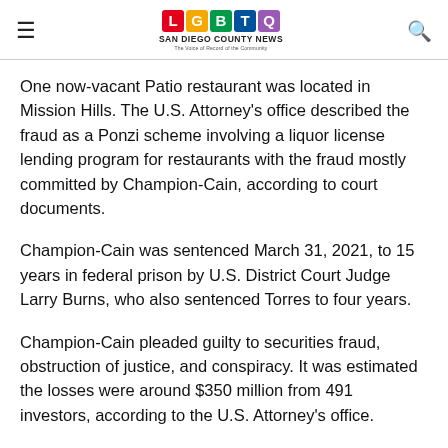LGBTQ San Diego County News
One now-vacant Patio restaurant was located in Mission Hills. The U.S. Attorney's office described the fraud as a Ponzi scheme involving a liquor license lending program for restaurants with the fraud mostly committed by Champion-Cain, according to court documents.
Champion-Cain was sentenced March 31, 2021, to 15 years in federal prison by U.S. District Court Judge Larry Burns, who also sentenced Torres to four years.
Champion-Cain pleaded guilty to securities fraud, obstruction of justice, and conspiracy. It was estimated the losses were around $350 million from 491 investors, according to the U.S. Attorney's office.
The sentence handed down to Torres was a surprise